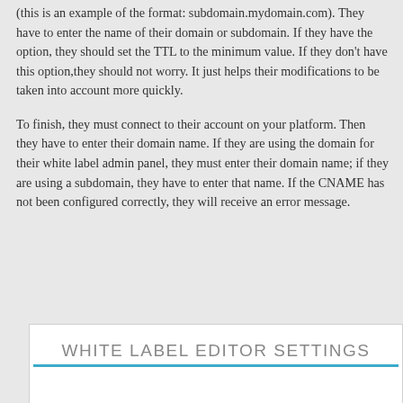(this is an example of the format: subdomain.mydomain.com). They have to enter the name of their domain or subdomain. If they have the option, they should set the TTL to the minimum value. If they don't have this option,they should not worry. It just helps their modifications to be taken into account more quickly.
To finish, they must connect to their account on your platform. Then they have to enter their domain name. If they are using the domain for their white label admin panel, they must enter their domain name; if they are using a subdomain, they have to enter that name. If the CNAME has not been configured correctly, they will receive an error message.
WHITE LABEL EDITOR SETTINGS